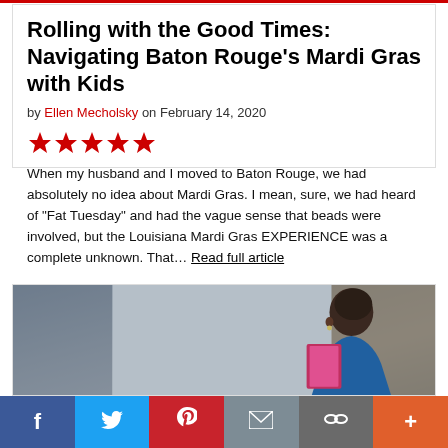Rolling with the Good Times: Navigating Baton Rouge’s Mardi Gras with Kids
by Ellen Mecholsky on February 14, 2020
[Figure (other): Five red star rating icons]
When my husband and I moved to Baton Rouge, we had absolutely no idea about Mardi Gras. I mean, sure, we had heard of “Fat Tuesday” and had the vague sense that beads were involved, but the Louisiana Mardi Gras EXPERIENCE was a complete unknown. That... Read full article
[Figure (photo): Photo of a person, likely a young woman, with dark hair, reading or looking at something with a colorful item visible, against a blurred background]
f  t  p  ✉  ∞  +